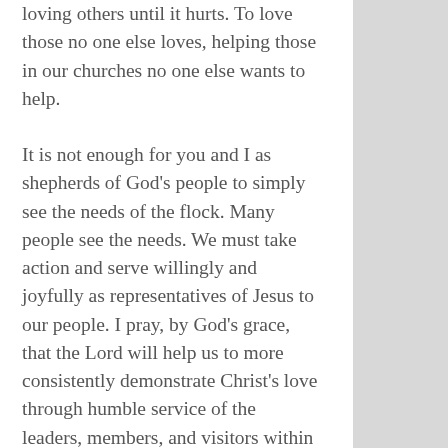loving others until it hurts. To love those no one else loves, helping those in our churches no one else wants to help.
It is not enough for you and I as shepherds of God's people to simply see the needs of the flock. Many people see the needs. We must take action and serve willingly and joyfully as representatives of Jesus to our people. I pray, by God's grace, that the Lord will help us to more consistently demonstrate Christ's love through humble service of the leaders, members, and visitors within our congregation. I pray that God would help us to be known, not simply as “the guy who preaches